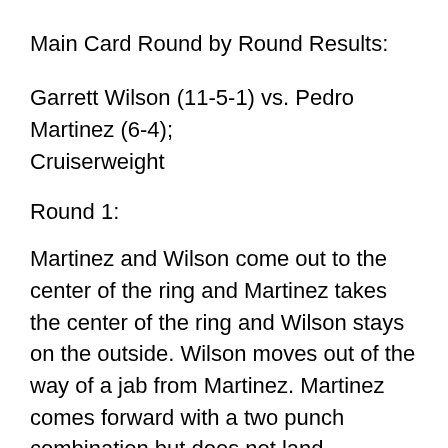Main Card Round by Round Results:
Garrett Wilson (11-5-1) vs. Pedro Martinez (6-4); Cruiserweight
Round 1:
Martinez and Wilson come out to the center of the ring and Martinez takes the center of the ring and Wilson stays on the outside. Wilson moves out of the way of a jab from Martinez. Martinez comes forward with a two punch combination but does not land anything. Wilson lands a left hook as Martinez comes forward. Wilson connects with a right cross. Martinez attacks with a body combination, and Wilson thuds two jabs at the nose of Martinez. Wilson thuds another jab at the nose of Martinez. Wilson lands a short right uppercut to the chin of